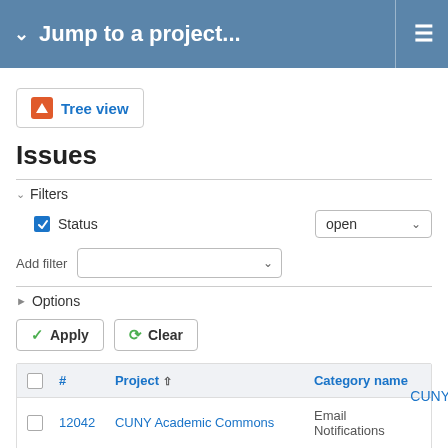Jump to a project...
Tree view
Issues
Filters
Status   open
Add filter
Options
Apply   Clear
|  | # | Project | Category name |
| --- | --- | --- | --- |
|  | 12042 | CUNY Academic Commons | Email Notifications   CUNY |